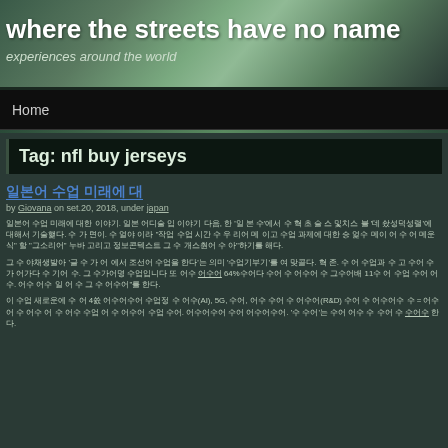where the streets have no name
experiences around the world
Home
Tag: nfl buy jerseys
[Korean text - post title link]
by Giovana on set.20, 2018, under japan
[Korean body text paragraphs]